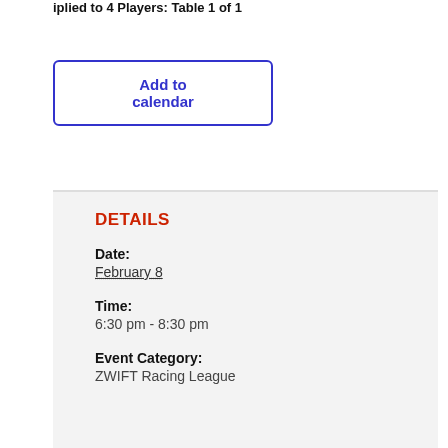iplied to 4 Players: Table 1 of 1
Add to calendar
DETAILS
Date:
February 8
Time:
6:30 pm - 8:30 pm
Event Category:
ZWIFT Racing League